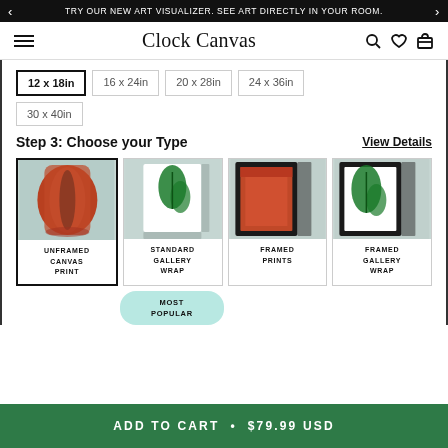TRY OUR NEW ART VISUALIZER. SEE ART DIRECTLY IN YOUR ROOM.
Clock Canvas
12 x 18in
16 x 24in
20 x 28in
24 x 36in
30 x 40in
Step 3: Choose your Type
View Details
[Figure (photo): Unframed canvas print showing rolled orange/red canvas]
UNFRAMED CANVAS PRINT
[Figure (photo): Standard gallery wrap showing monstera leaf print]
STANDARD GALLERY WRAP
[Figure (photo): Framed prints showing orange framed canvas]
FRAMED PRINTS
[Figure (photo): Framed gallery wrap showing monstera leaf in black frame]
FRAMED GALLERY WRAP
MOST POPULAR
ADD TO CART  •  $79.99 USD